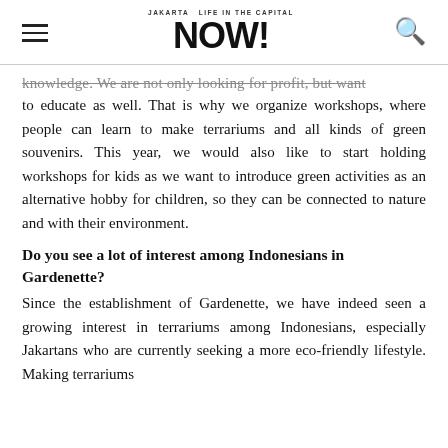NOW! Jakarta — Life in the Capital
knowledge. We are not only looking for profit, but want to educate as well. That is why we organize workshops, where people can learn to make terrariums and all kinds of green souvenirs. This year, we would also like to start holding workshops for kids as we want to introduce green activities as an alternative hobby for children, so they can be connected to nature and with their environment.
Do you see a lot of interest among Indonesians in Gardenette?
Since the establishment of Gardenette, we have indeed seen a growing interest in terrariums among Indonesians, especially Jakartans who are currently seeking a more eco-friendly lifestyle. Making terrariums